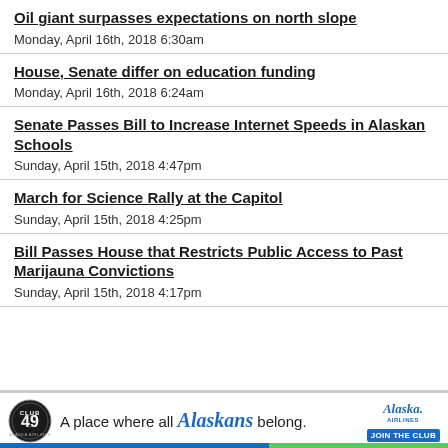Oil giant surpasses expectations on north slope
Monday, April 16th, 2018 6:30am
House, Senate differ on education funding
Monday, April 16th, 2018 6:24am
Senate Passes Bill to Increase Internet Speeds in Alaskan Schools
Sunday, April 15th, 2018 4:47pm
March for Science Rally at the Capitol
Sunday, April 15th, 2018 4:25pm
Bill Passes House that Restricts Public Access to Past Marijauna Convictions
Sunday, April 15th, 2018 4:17pm
[Figure (infographic): Alaska Airlines Club 49 advertisement: circular badge logo, text 'A place where all Alaskans belong.' with Alaska Airlines logo and JOIN THE CLUB button]